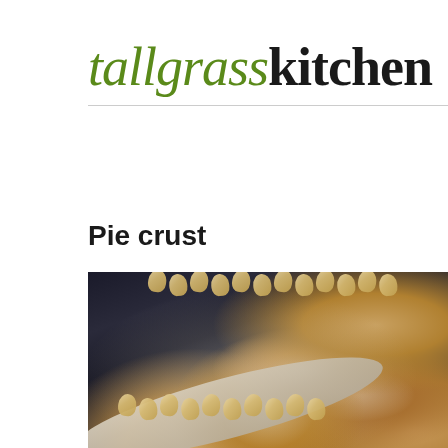tallgrasskitchen
Pie crust
[Figure (photo): Close-up photograph of an unbaked pie crust in a pie dish, showing a crimped/scalloped edge with individual dough blobs forming the decorative border. The background is very dark (near black). Steam or mist is visible near the crust. The image is cropped at bottom and right.]